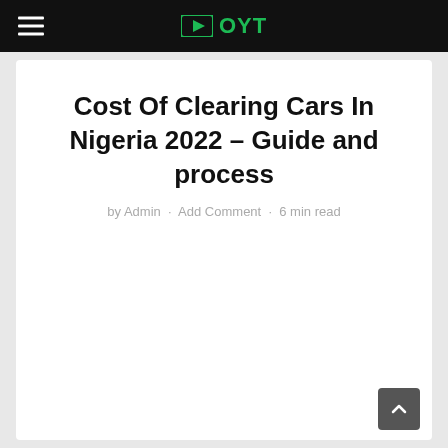OYT
Cost Of Clearing Cars In Nigeria 2022 – Guide and process
by Admin · Add Comment · 6 min read